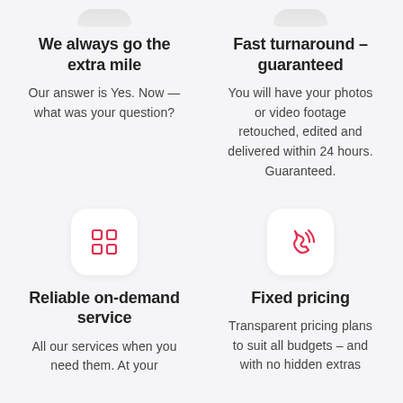We always go the extra mile
Our answer is Yes. Now — what was your question?
Fast turnaround – guaranteed
You will have your photos or video footage retouched, edited and delivered within 24 hours. Guaranteed.
[Figure (illustration): Grid/apps icon in red on white rounded square card]
Reliable on-demand service
All our services when you need them. At your
[Figure (illustration): Phone/call icon in red on white rounded square card]
Fixed pricing
Transparent pricing plans to suit all budgets – and with no hidden extras